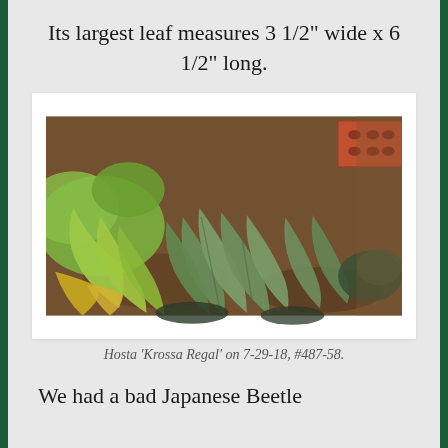Its largest leaf measures 3 1/2" wide x 6 1/2" long.
[Figure (photo): Garden photo showing hosta plants with large green leaves, a brick visible in upper right, photographed from above on 7-29-18]
Hosta 'Krossa Regal' on 7-29-18, #487-58.
We had a bad Japanese Beetle